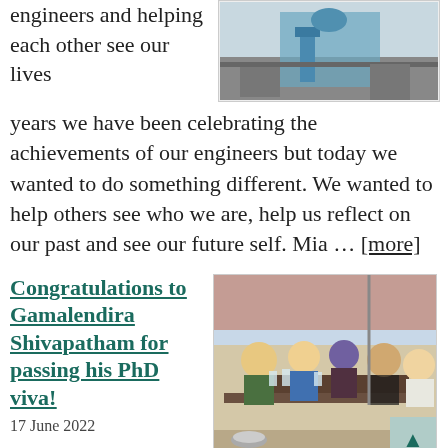engineers and helping each other see our lives For years we have been celebrating the achievements of our engineers but today we wanted to do something different. We wanted to help others see who we are, help us reflect on our past and see our future self. Mia … [more]
[Figure (photo): Photo of a blue chair in an indoor setting]
Congratulations to Gamalendira Shivapatham for passing his PhD viva!
17 June 2022
[Figure (photo): Group photo of five people sitting at an outdoor table, celebrating]